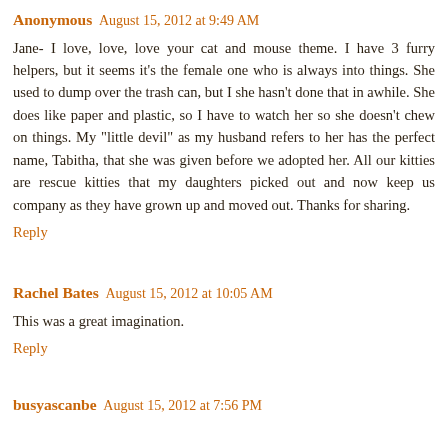Anonymous  August 15, 2012 at 9:49 AM
Jane- I love, love, love your cat and mouse theme. I have 3 furry helpers, but it seems it's the female one who is always into things. She used to dump over the trash can, but I she hasn't done that in awhile. She does like paper and plastic, so I have to watch her so she doesn't chew on things. My "little devil" as my husband refers to her has the perfect name, Tabitha, that she was given before we adopted her. All our kitties are rescue kitties that my daughters picked out and now keep us company as they have grown up and moved out. Thanks for sharing.
Reply
Rachel Bates  August 15, 2012 at 10:05 AM
This was a great imagination.
Reply
busyascanbe  August 15, 2012 at 7:56 PM